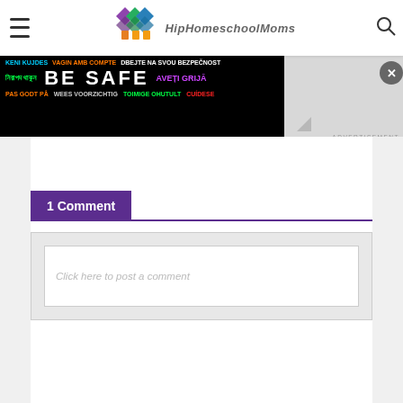Hip Homeschool Moms
[Figure (logo): Hip Homeschool Moms logo with colorful house/diamond icons]
[Figure (infographic): BE SAFE multilingual public safety advertisement banner]
1 Comment
Click here to post a comment